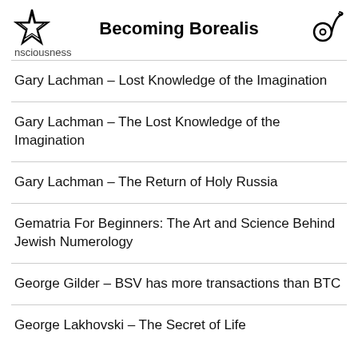Becoming Borealis
nsciousness
Gary Lachman – Lost Knowledge of the Imagination
Gary Lachman – The Lost Knowledge of the Imagination
Gary Lachman – The Return of Holy Russia
Gematria For Beginners: The Art and Science Behind Jewish Numerology
George Gilder – BSV has more transactions than BTC
George Lakhovski – The Secret of Life